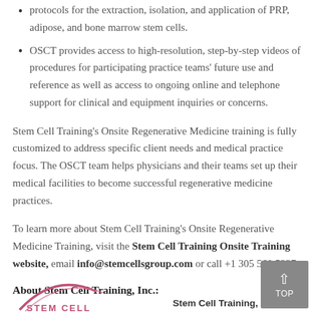protocols for the extraction, isolation, and application of PRP, adipose, and bone marrow stem cells.
OSCT provides access to high-resolution, step-by-step videos of procedures for participating practice teams' future use and reference as well as access to ongoing online and telephone support for clinical and equipment inquiries or concerns.
Stem Cell Training's Onsite Regenerative Medicine training is fully customized to address specific client needs and medical practice focus. The OSCT team helps physicians and their teams set up their medical facilities to become successful regenerative medicine practices.
To learn more about Stem Cell Training's Onsite Regenerative Medicine Training, visit the Stem Cell Training Onsite Training website, email info@stemcellsgroup.com or call +1 305 560 5337.
About Stem Cell Training, Inc.:
[Figure (logo): Stem Cell Training logo with stylized pink arc and text 'STEM CELL']
Stem Cell Training,